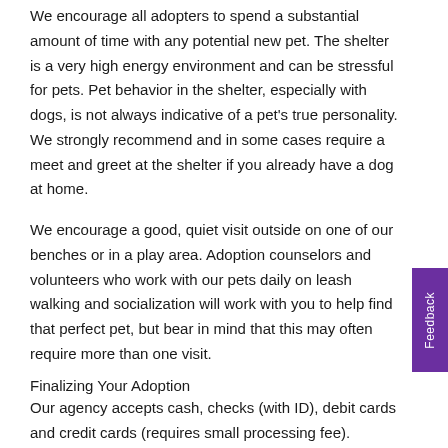We encourage all adopters to spend a substantial amount of time with any potential new pet. The shelter is a very high energy environment and can be stressful for pets. Pet behavior in the shelter, especially with dogs, is not always indicative of a pet's true personality. We strongly recommend and in some cases require a meet and greet at the shelter if you already have a dog at home.
We encourage a good, quiet visit outside on one of our benches or in a play area. Adoption counselors and volunteers who work with our pets daily on leash walking and socialization will work with you to help find that perfect pet, but bear in mind that this may often require more than one visit.
Finalizing Your Adoption
Our agency accepts cash, checks (with ID), debit cards and credit cards (requires small processing fee). Payment is